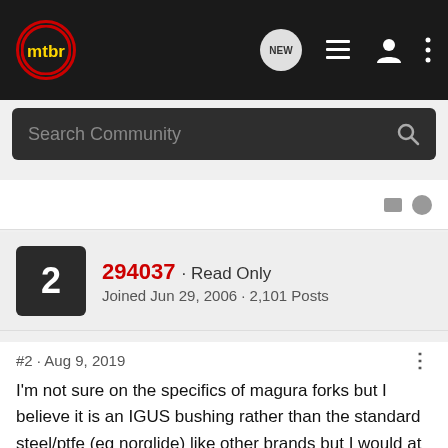mtbr — navigation bar with logo, NEW chat, list, user, and menu icons
Search Community
294037 · Read Only
Joined Jun 29, 2006 · 2,101 Posts
#2 · Aug 9, 2019
I'm not sure on the specifics of magura forks but I believe it is an IGUS bushing rather than the standard steel/ptfe (eg norglide) like other brands but I would at least find someone with a bushing setting tool and try to knock it back down in to place. You can measure off the other leg to check when its at the right depth. It should be a tight fit, but if not then it might be buggered.